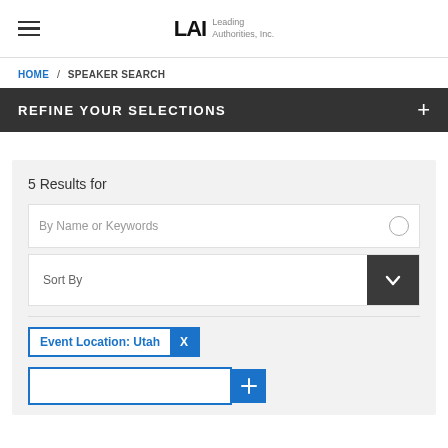LAI Leading Authorities, Inc.
HOME / SPEAKER SEARCH
REFINE YOUR SELECTIONS +
5 Results for
By Name or Keywords
Sort By
Event Location: Utah  X